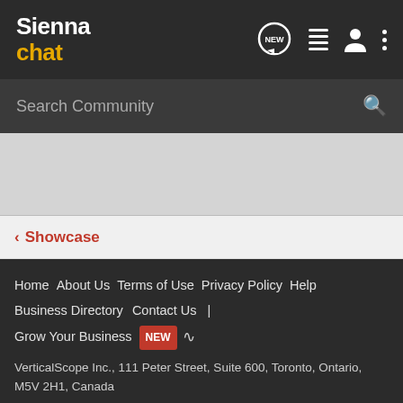Sienna chat
Search Community
< Showcase
Home  About Us  Terms of Use  Privacy Policy  Help  Business Directory  Contact Us  |  Grow Your Business  NEW  [RSS]

VerticalScope Inc., 111 Peter Street, Suite 600, Toronto, Ontario, M5V 2H1, Canada

The Fora platform includes forum software by XenForo

siennachat.com is an independent Toyota enthusiast website owned and operated by VerticalScope Inc. Content on